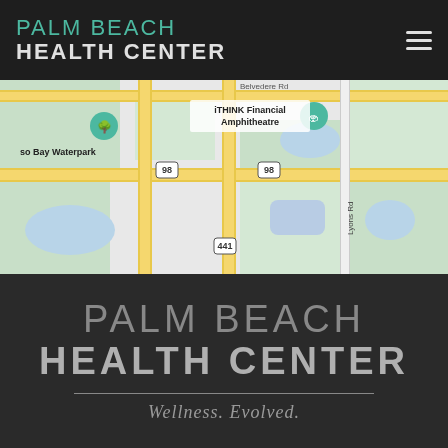PALM BEACH HEALTH CENTER
[Figure (map): Google Maps view showing area near iTHINK Financial Amphitheatre, so Bay Waterpark, with roads labeled 98 and 441, Lyons Rd, and Belvedere Rd visible]
PALM BEACH HEALTH CENTER — Wellness. Evolved.